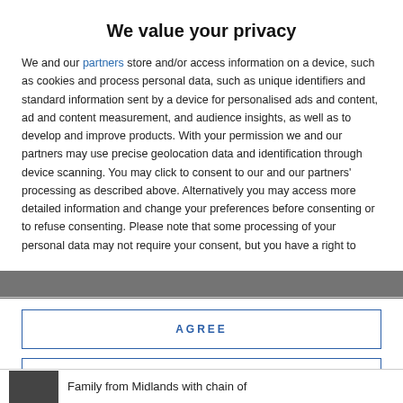We value your privacy
We and our partners store and/or access information on a device, such as cookies and process personal data, such as unique identifiers and standard information sent by a device for personalised ads and content, ad and content measurement, and audience insights, as well as to develop and improve products. With your permission we and our partners may use precise geolocation data and identification through device scanning. You may click to consent to our and our partners' processing as described above. Alternatively you may access more detailed information and change your preferences before consenting or to refuse consenting. Please note that some processing of your personal data may not require your consent, but you have a right to
AGREE
MORE OPTIONS
Family from Midlands with chain of